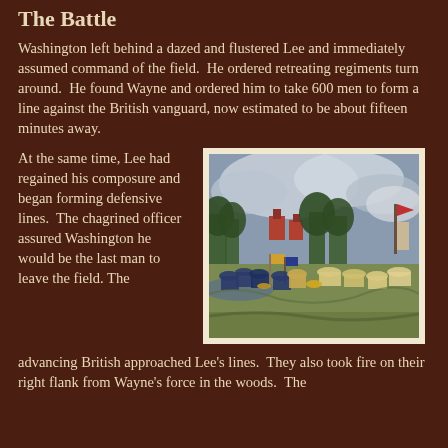The Battle
Washington left behind a dazed and flustered Lee and immediately assumed command of the field.  He ordered retreating regiments turn around.  He found Wayne and ordered him to take 600 men to form a line against the British vanguard, now estimated to be about fifteen minutes away.
At the same time, Lee had regained his composure and began forming defensive lines.  The chagrined officer assured Washington he would be the last man to leave the field. The advancing British approached Lee’s lines.  They also took fire on their right flank from Wayne’s force in the woods.  The
[Figure (illustration): Historical painting depicting a Revolutionary War battle scene with soldiers in blue uniforms fighting, flags, trees, and buildings in the background under a cloudy sky.]